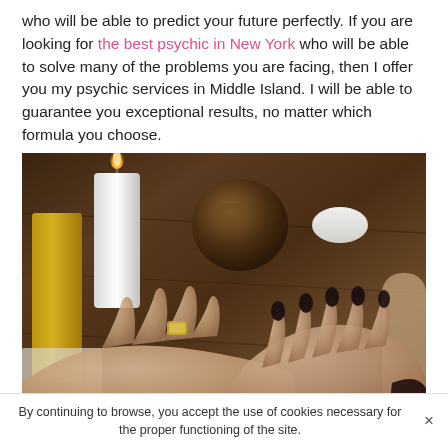who will be able to predict your future perfectly. If you are looking for the best psychic in New York who will be able to solve many of the problems you are facing, then I offer you my psychic services in Middle Island. I will be able to guarantee you exceptional results, no matter which formula you choose.
[Figure (photo): A psychic reading scene showing two pairs of hands on a wooden table. One person has black painted nails and a decorative ring, the other has a turquoise beaded bracelet. Candles (white, yellow) and decorative holders are visible in the background.]
By continuing to browse, you accept the use of cookies necessary for the proper functioning of the site.